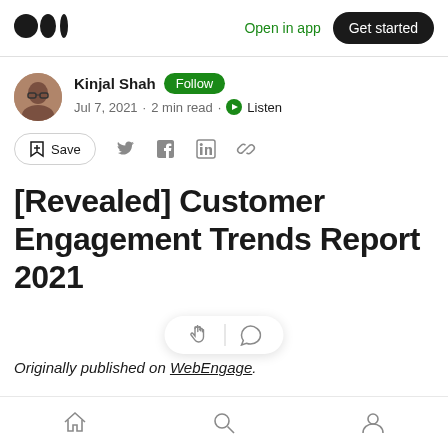Medium logo | Open in app | Get started
Kinjal Shah  Follow
Jul 7, 2021 · 2 min read · Listen
Save (social share icons)
[Revealed] Customer Engagement Trends Report 2021
Originally published on WebEngage.
Bottom navigation bar: Home, Search, Profile